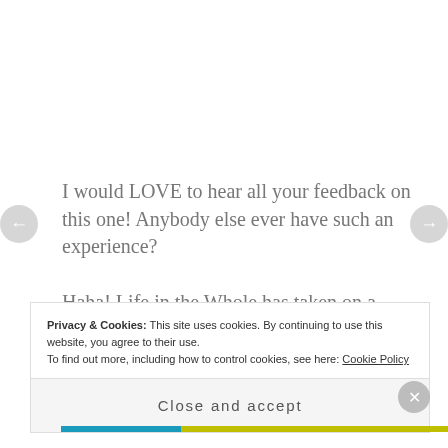I would LOVE to hear all your feedback on this one! Anybody else ever have such an experience?
Haha! Life in the Whole has taken on a whole new meaning. THIS hole has water in it!
Enjoy your life. And all it's holes!
Privacy & Cookies: This site uses cookies. By continuing to use this website, you agree to their use.
To find out more, including how to control cookies, see here: Cookie Policy
Close and accept